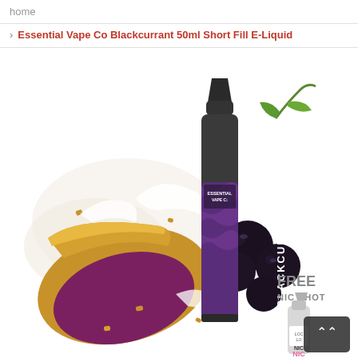home
Essential Vape Co Blackcurrant 50ml Short Fill E-Liquid
[Figure (photo): Product photo of Essential Vape Co Blackcurrant 50ml Short Fill E-Liquid bottle with blackcurrant berries, blackcurrant pie, and cream splashes in the background. A FREE NIC SHOT label and small nicotine shot bottle appear in the bottom right corner.]